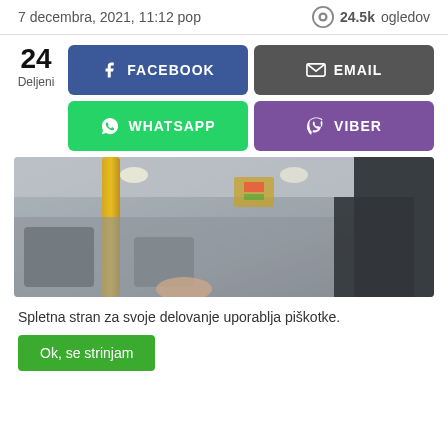7 decembra, 2021, 11:12 pop    👁 24.5k ogledov
24 Deljeni
FACEBOOK
EMAIL
WHATSAPP
VIBER
[Figure (photo): Interior of a public transport vehicle (bus or tram), angled view showing yellow pole, seats, ceiling lights and passengers.]
Spletna stran za svoje delovanje uporablja piškotke.
Ok, se strinjam